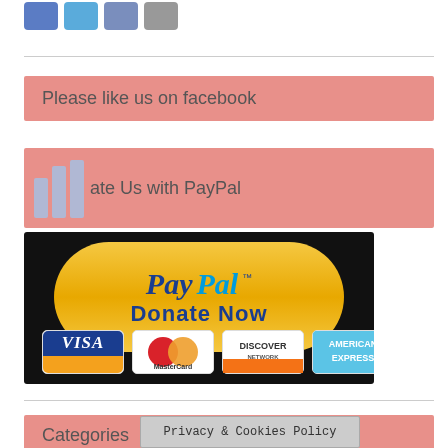[Figure (illustration): Row of social media icon buttons: Facebook (blue), Twitter (light blue), LinkedIn (blue-gray), YouTube (gray)]
Please like us on facebook
Donate Us with PayPal
[Figure (illustration): PayPal Donate Now button on black background with VISA, MasterCard, Discover, American Express card logos below]
Categories
Privacy & Cookies Policy